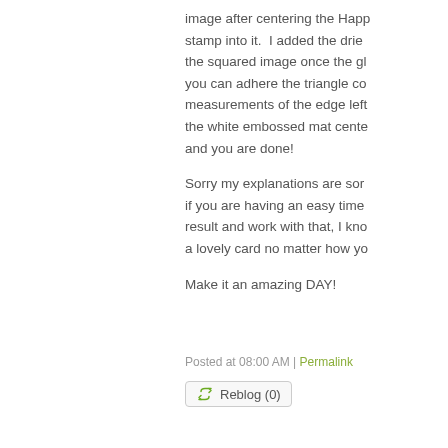image after centering the Happ stamp into it.  I added the drie the squared image once the gl you can adhere the triangle co measurements of the edge left the white embossed mat cente and you are done!
Sorry my explanations are sor if you are having an easy time result and work with that, I kno a lovely card no matter how yo
Make it an amazing DAY!
Posted at 08:00 AM | Permalink
Reblog (0)